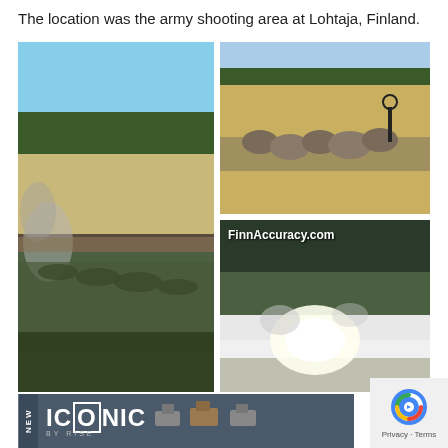The location was the army shooting area at Lohtaja, Finland.
[Figure (photo): Three photos: left shows soldiers lying prone on sandy ground with forest background and smoke; top right shows a sandy shooting range with rocks and a target silhouette; bottom right shows a bright muzzle flash/explosion on a green field with FinnAccuracy.com watermark]
[Figure (other): Advertisement banner: NEW ICONIC BY RISE with gun trigger images]
[Figure (other): Privacy Terms reCAPTCHA badge in bottom right corner]